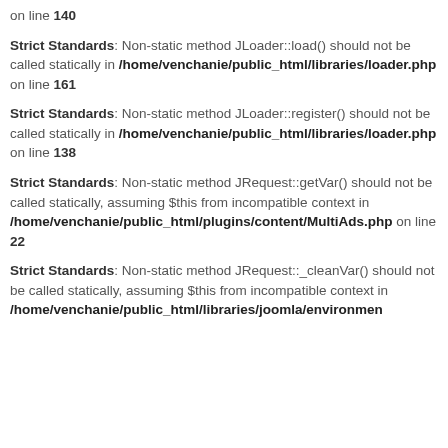on line 140
Strict Standards: Non-static method JLoader::load() should not be called statically in /home/venchanie/public_html/libraries/loader.php on line 161
Strict Standards: Non-static method JLoader::register() should not be called statically in /home/venchanie/public_html/libraries/loader.php on line 138
Strict Standards: Non-static method JRequest::getVar() should not be called statically, assuming $this from incompatible context in /home/venchanie/public_html/plugins/content/MultiAds.php on line 22
Strict Standards: Non-static method JRequest::_cleanVar() should not be called statically, assuming $this from incompatible context in /home/venchanie/public_html/libraries/joomla/environment